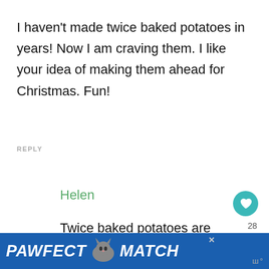I haven't made twice baked potatoes in years! Now I am craving them. I like your idea of making them ahead for Christmas. Fun!
REPLY
Helen
Twice baked potatoes are so much better than the regular ones.
[Figure (other): PAWFECT MATCH advertisement banner with cat image]
28